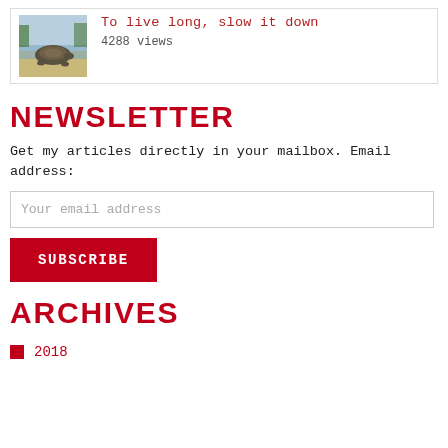[Figure (photo): Thumbnail photo of a tortoise on sandy ground near water]
To live long, slow it down
4288 views
NEWSLETTER
Get my articles directly in your mailbox. Email address:
Your email address
SUBSCRIBE
ARCHIVES
2018